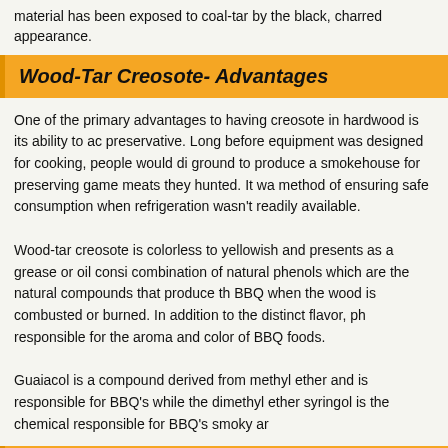material has been exposed to coal-tar by the black, charred appearance.
Wood-Tar Creosote- Advantages
One of the primary advantages to having creosote in hardwood is its ability to act as a preservative. Long before equipment was designed for cooking, people would dig into the ground to produce a smokehouse for preserving game meats they hunted. It was a method of ensuring safe consumption when refrigeration wasn't readily available.
Wood-tar creosote is colorless to yellowish and presents as a grease or oil consisting of a combination of natural phenols which are the natural compounds that produce the flavor of BBQ when the wood is combusted or burned. In addition to the distinct flavor, phenols are responsible for the aroma and color of BBQ foods.
Guaiacol is a compound derived from methyl ether and is responsible for BBQ's smoky flavor while the dimethyl ether syringol is the chemical responsible for BBQ's smoky aroma.
Wood-Tar Creosote- Risks
Now that you know not all of creosote's chemical composition is bad, what are the risks of wood-tar creosote?
The biggest risk is in burning wood that is not at an ideal combustion rate. I'm su